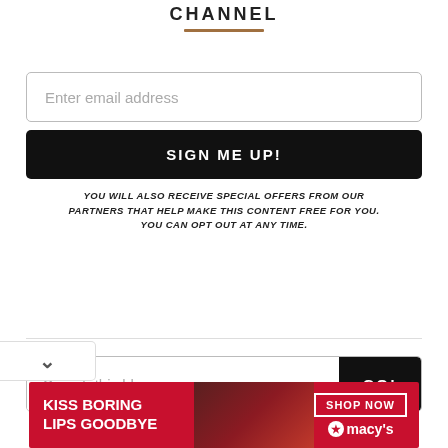CHANNEL
Enter email address
SIGN ME UP!
YOU WILL ALSO RECEIVE SPECIAL OFFERS FROM OUR PARTNERS THAT HELP MAKE THIS CONTENT FREE FOR YOU. YOU CAN OPT OUT AT ANY TIME.
Search this blog...
GO!
[Figure (illustration): Macy's advertisement banner with red background showing a woman with red lips, text KISS BORING LIPS GOODBYE and SHOP NOW button with Macy's logo]